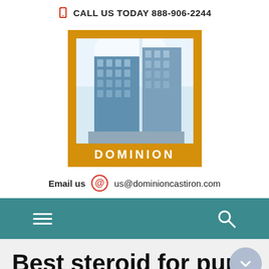CALL US TODAY 888-906-2244
[Figure (logo): Dominion logo: orange/gold square frame with photo of skyscraper building interior looking upward, text DOMINION in white below the image on gold background]
Email us  us@dominioncastiron.com
[Figure (screenshot): Teal navigation bar with hamburger menu icon (three horizontal lines) on the left and a search (magnifying glass) icon on the right]
Best steroid for pure strength, best